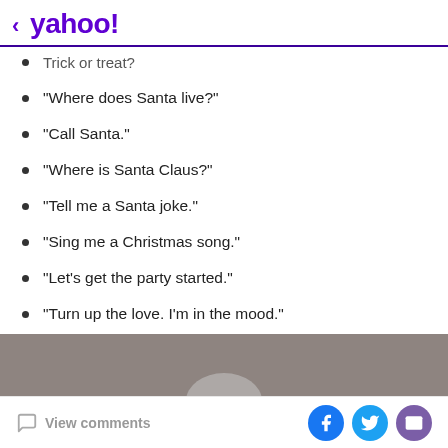< yahoo!
Trick or treat?
“Where does Santa live?”
“Call Santa.”
“Where is Santa Claus?”
“Tell me a Santa joke.”
“Sing me a Christmas song.”
“Let’s get the party started.”
“Turn up the love. I’m in the mood.”
[Figure (photo): Grey/brown image strip at bottom of article, partially visible photo]
View comments | Facebook | Twitter | Email